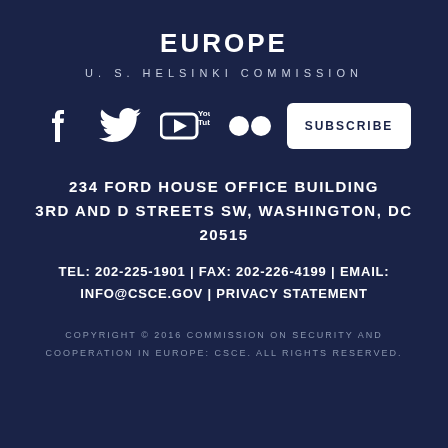EUROPE
U. S. HELSINKI COMMISSION
[Figure (infographic): Social media icons row: Facebook, Twitter, YouTube, Flickr, and a SUBSCRIBE button]
234 FORD HOUSE OFFICE BUILDING
3RD AND D STREETS SW, WASHINGTON, DC 20515
TEL: 202-225-1901 | FAX: 202-226-4199 | EMAIL: INFO@CSCE.GOV | PRIVACY STATEMENT
COPYRIGHT © 2016 COMMISSION ON SECURITY AND
COOPERATION IN EUROPE: CSCE. ALL RIGHTS RESERVED.